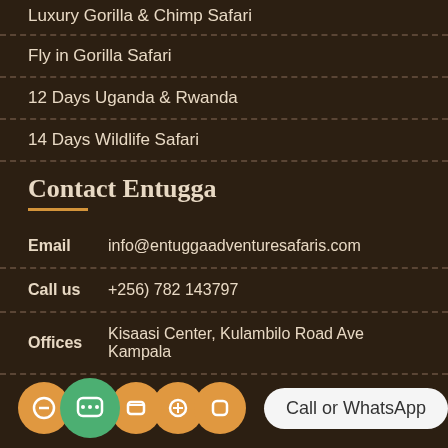Luxury Gorilla & Chimp Safari
Fly in Gorilla Safari
12 Days Uganda & Rwanda
14 Days Wildlife Safari
Contact Entugga
Email    info@entuggaadventuresafaris.com
Call us    +256) 782 143797
Offices    Kisaasi Center, Kulambilo Road Ave Kampala
[Figure (infographic): Social media icon circles (orange and green WhatsApp) with a 'Call or WhatsApp' speech bubble button]